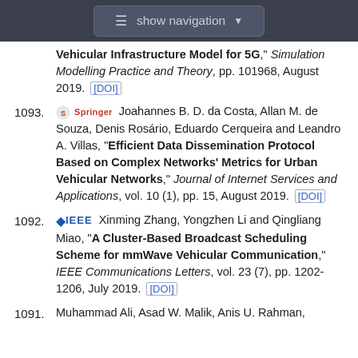show navigation
Vehicular Infrastructure Model for 5G," Simulation Modelling Practice and Theory, pp. 101968, August 2019. [DOI]
1093. [Springer] Joahannes B. D. da Costa, Allan M. de Souza, Denis Rosário, Eduardo Cerqueira and Leandro A. Villas, "Efficient Data Dissemination Protocol Based on Complex Networks' Metrics for Urban Vehicular Networks," Journal of Internet Services and Applications, vol. 10 (1), pp. 15, August 2019. [DOI]
1092. [IEEE] Xinming Zhang, Yongzhen Li and Qingliang Miao, "A Cluster-Based Broadcast Scheduling Scheme for mmWave Vehicular Communication," IEEE Communications Letters, vol. 23 (7), pp. 1202-1206, July 2019. [DOI]
1091. Muhammad Ali, Asad W. Malik, Anis U. Rahman,